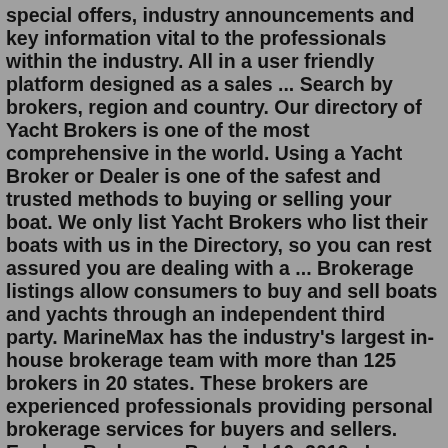special offers, industry announcements and key information vital to the professionals within the industry. All in a user friendly platform designed as a sales ... Search by brokers, region and country. Our directory of Yacht Brokers is one of the most comprehensive in the world. Using a Yacht Broker or Dealer is one of the safest and trusted methods to buying or selling your boat. We only list Yacht Brokers who list their boats with us in the Directory, so you can rest assured you are dealing with a ... Brokerage listings allow consumers to buy and sell boats and yachts through an independent third party. MarineMax has the industry's largest in-house brokerage team with more than 125 brokers in 20 states. These brokers are experienced professionals providing personal brokerage services for buyers and sellers. Explore Brokerage BoatsJul 10, 2019 · In addition to marketing and other methods of getting the word out, most brokers have a client network and might even have potential buyers in mind right away. This can also be a factor in getting your yacht sold